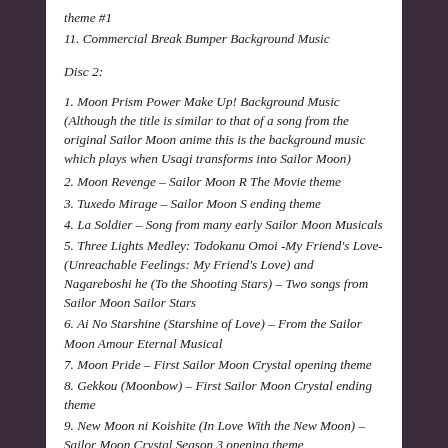theme #1
11. Commercial Break Bumper Background Music
Disc 2:
1. Moon Prism Power Make Up! Background Music (Although the title is similar to that of a song from the original Sailor Moon anime this is the background music which plays when Usagi transforms into Sailor Moon)
2. Moon Revenge – Sailor Moon R The Movie theme
3. Tuxedo Mirage – Sailor Moon S ending theme
4. La Soldier – Song from many early Sailor Moon Musicals
5. Three Lights Medley: Todokanu Omoi -My Friend's Love- (Unreachable Feelings: My Friend's Love) and Nagareboshi he (To the Shooting Stars) – Two songs from Sailor Moon Sailor Stars
6. Ai No Starshine (Starshine of Love) – From the Sailor Moon Amour Eternal Musical
7. Moon Pride – First Sailor Moon Crystal opening theme
8. Gekkou (Moonbow) – First Sailor Moon Crystal ending theme
9. New Moon ni Koishite (In Love With the New Moon) – Sailor Moon Crystal Season 3 opening theme